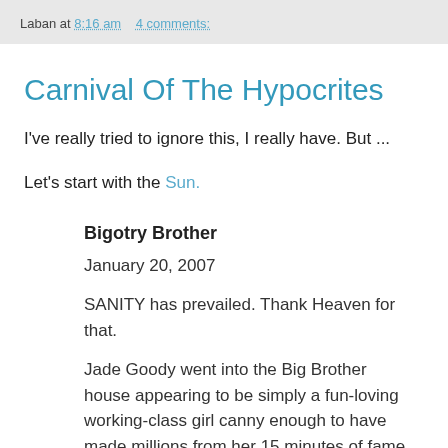Laban at 8:16 am    4 comments:
Carnival Of The Hypocrites
I've really tried to ignore this, I really have. But ...
Let's start with the Sun.
Bigotry Brother
January 20, 2007
SANITY has prevailed. Thank Heaven for that.
Jade Goody went into the Big Brother house appearing to be simply a fun-loving working-class girl canny enough to have made millions from her 15 minutes of fame. It was all a meticulously manufactured lie.